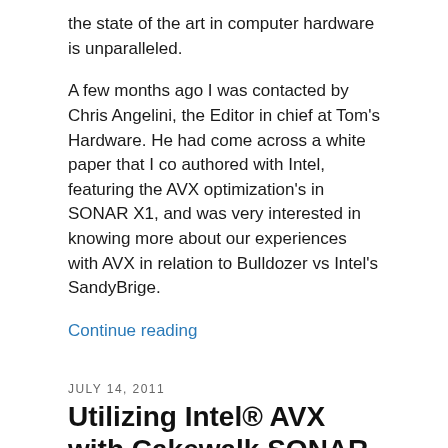the state of the art in computer hardware is unparalleled.
A few months ago I was contacted by Chris Angelini, the Editor in chief at Tom's Hardware. He had come across a white paper that I co authored with Intel, featuring the AVX optimization's in SONAR X1, and was very interested in knowing more about our experiences with AVX in relation to Bulldozer vs Intel's SandyBrige.
Continue reading
JULY 14, 2011
Utilizing Intel® AVX with Cakewalk SONAR X1
This is a whitepaper (Utilizing Intel® AVX with Cakewalk SONAR X1) which I co-authored with Intel engineer